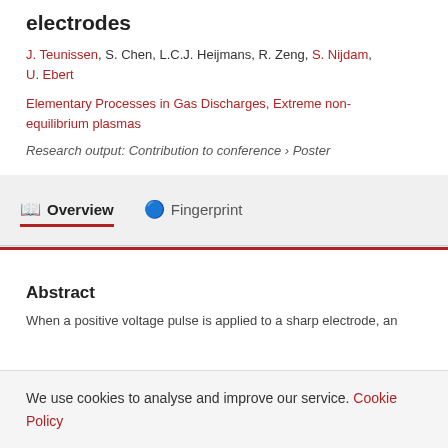electrodes
J. Teunissen, S. Chen, L.C.J. Heijmans, R. Zeng, S. Nijdam, U. Ebert
Elementary Processes in Gas Discharges, Extreme non-equilibrium plasmas
Research output: Contribution to conference › Poster
Overview
Fingerprint
Abstract
When a positive voltage pulse is applied to a sharp electrode, an
We use cookies to analyse and improve our service. Cookie Policy